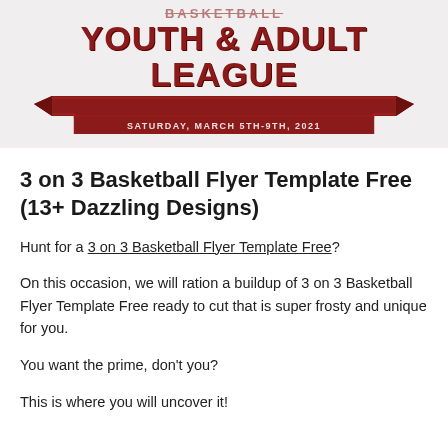[Figure (illustration): Basketball Youth & Adult League banner with red bold title text, strikethrough decorative text above, and a red ribbon/banner graphic below with partially visible date text]
3 on 3 Basketball Flyer Template Free (13+ Dazzling Designs)
Hunt for a 3 on 3 Basketball Flyer Template Free?
On this occasion, we will ration a buildup of 3 on 3 Basketball Flyer Template Free ready to cut that is super frosty and unique for you.
You want the prime, don't you?
This is where you will uncover it!